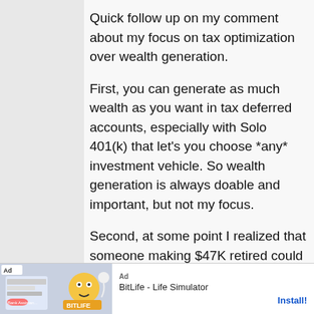Quick follow up on my comment about my focus on tax optimization over wealth generation.
First, you can generate as much wealth as you want in tax deferred accounts, especially with Solo 401(k) that let's you choose *any* investment vehicle. So wealth generation is always doable and important, but not my focus.
Second, at some point I realized that someone making $47K retired could
[Figure (screenshot): Ad banner at bottom: BitLife - Life Simulator app advertisement with Install button]